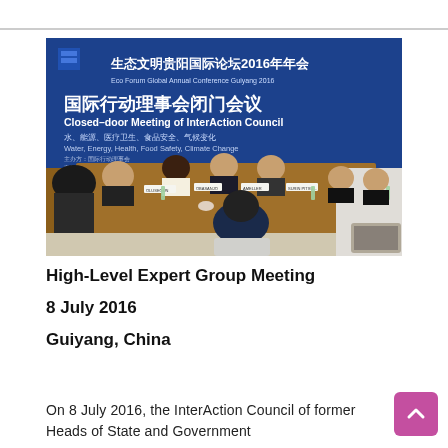[Figure (photo): Photo of a closed-door meeting of the InterAction Council at the Eco Forum Global Annual Conference Guiyang 2016. Delegates seated at a large conference table with a blue banner backdrop showing Chinese and English text: '国际行动理事会闭门会议 / Closed-door Meeting of InterAction Council' and topics 'Water, Energy, Health, Food Safety, Climate Change'.]
High-Level Expert Group Meeting
8 July 2016
Guiyang, China
On 8 July 2016, the InterAction Council of former Heads of State and Government